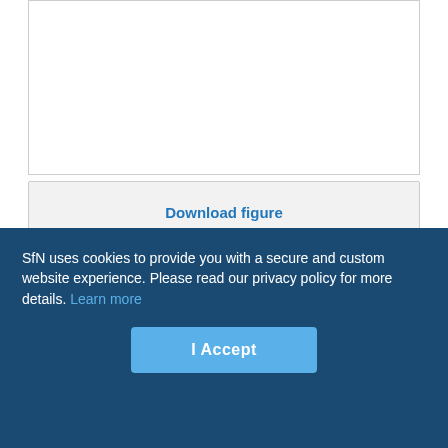[Figure (other): White figure/image area (top portion of a scientific figure, cropped)]
Download figure
Open in new tab
Download powerpoint
Fig. 1.
SfN uses cookies to provide you with a secure and custom website experience. Please read our privacy policy for more details. Learn more
I Accept